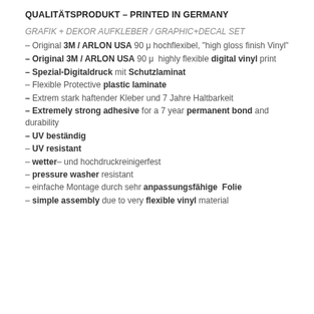QUALITÄTSPRODUKT – PRINTED IN GERMANY
GRAFIK + DEKOR AUFKLEBER / GRAPHIC+DECAL SET
– Original 3M / ARLON USA 90 μ hochflexibel, "high gloss finish Vinyl"
– Original 3M / ARLON USA 90 μ  highly flexible digital vinyl print
– Spezial-Digitaldruck mit Schutzlaminat
– Flexible Protective plastic laminate
– Extrem stark haftender Kleber und 7 Jahre Haltbarkeit
– Extremely strong adhesive for a 7 year permanent bond and durability
– UV beständig
– UV resistant
– wetter– und hochdruckreinigerfest
– pressure washer resistant
– einfache Montage durch sehr anpassungsfähige  Folie
– simple assembly due to very flexible vinyl material